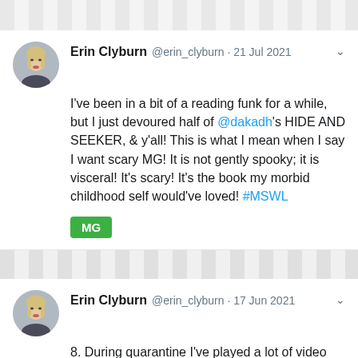[Figure (illustration): Striped decorative header band]
Erin Clyburn @erin_clyburn · 21 Jul 2021
I've been in a bit of a reading funk for a while, but I just devoured half of @dakadh's HIDE AND SEEKER, & y'all! This is what I mean when I say I want scary MG! It is not gently spooky; it is visceral! It's scary! It's the book my morbid childhood self would've loved! #MSWL
MG
[Figure (illustration): Striped decorative divider band]
Erin Clyburn @erin_clyburn · 17 Jun 2021
8. During quarantine I've played a lot of video games. I'd love some MG & YA fiction, or adult fiction & nonfiction about video games (Homages to games? Deep-dive histories? Esports stories?). I am a lifelong Zelda, Monkey Island, & Harvest Moon fanatic.